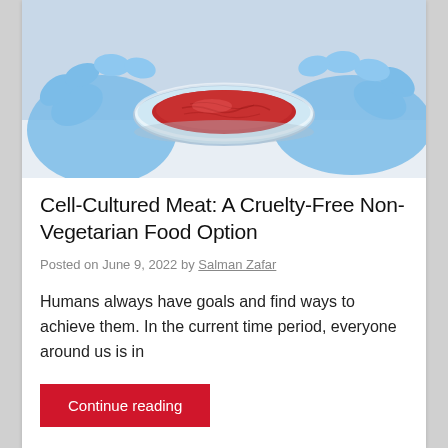[Figure (photo): Gloved hands in blue latex gloves holding a petri dish containing a red cultured meat sample in a laboratory setting.]
Cell-Cultured Meat: A Cruelty-Free Non-Vegetarian Food Option
Posted on June 9, 2022 by Salman Zafar
Humans always have goals and find ways to achieve them. In the current time period, everyone around us is in
Continue reading